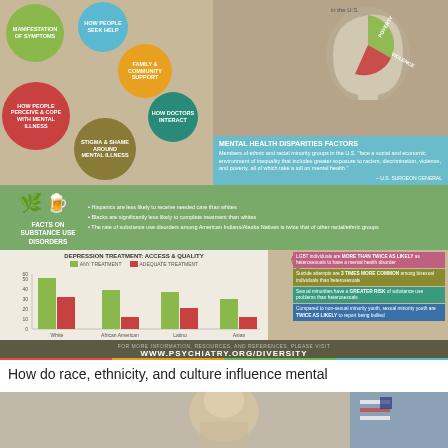[Figure (infographic): Infographic on race, ethnicity, culture and mental health. Shows bubble diagram with factors affecting mental health (Manifestation of Symptoms, How People Seek Help, Family & Community Support, How People Perceive & Cope With Mental Illness, How Doctors Interact, Stigma & Shame Around Mental Illness), mental health disparities factors section with head silhouette and pie chart (Poverty, Violence), Facts on Substance Use Disorders section, Depression Treatment Access & Quality bar chart comparing Any Treatment vs Adequate Treatment across White, African American, Latino, Asian groups, and LGBT Facts section. Footer: WWW.PSYCHIATRY.ORG/DIVERSITY]
How do race, ethnicity, and culture influence mental
[Figure (photo): Photo of elderly person, partially visible at bottom of page]